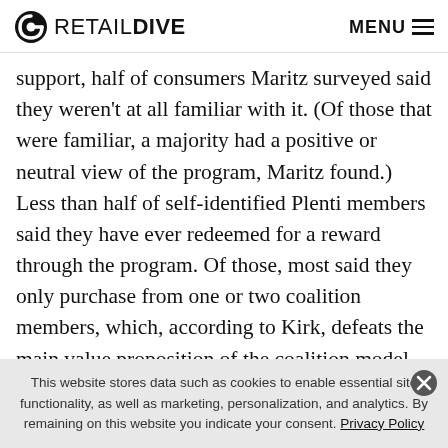RETAIL DIVE   MENU
support, half of consumers Maritz surveyed said they weren't at all familiar with it. (Of those that were familiar, a majority had a positive or neutral view of the program, Maritz found.) Less than half of self-identified Plenti members said they have ever redeemed for a reward through the program. Of those, most said they only purchase from one or two coalition members, which, according to Kirk, defeats the main value proposition of the coalition model.
This website stores data such as cookies to enable essential site functionality, as well as marketing, personalization, and analytics. By remaining on this website you indicate your consent. Privacy Policy